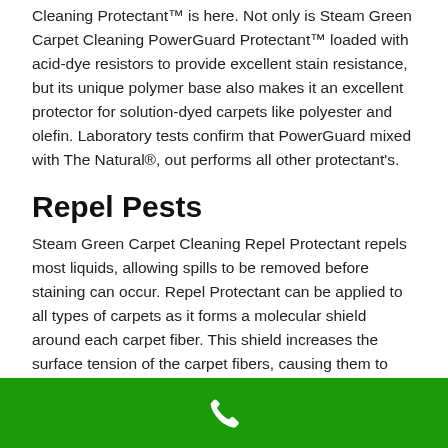Cleaning Protectant™ is here. Not only is Steam Green Carpet Cleaning PowerGuard Protectant™ loaded with acid-dye resistors to provide excellent stain resistance, but its unique polymer base also makes it an excellent protector for solution-dyed carpets like polyester and olefin. Laboratory tests confirm that PowerGuard mixed with The Natural®, out performs all other protectant's.
Repel Pests
Steam Green Carpet Cleaning Repel Protectant repels most liquids, allowing spills to be removed before staining can occur. Repel Protectant can be applied to all types of carpets as it forms a molecular shield around each carpet fiber. This shield increases the surface tension of the carpet fibers, causing them to repel liquid spills, dust and dirt. This helps prevent dirt and stains from being ground
[Figure (other): Green footer bar with white phone icon in the center]